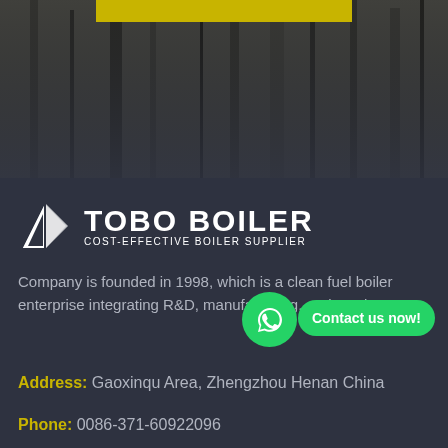[Figure (photo): Background photo of rough stone/concrete texture with dark crevices and a yellow/gold horizontal bar overlay at the top center]
[Figure (logo): TOBO BOILER logo: white geometric kite-like icon on left, bold white text TOBO BOILER with subtitle COST-EFFECTIVE BOILER SUPPLIER]
Company is founded in 1998, which is a clean fuel boiler enterprise integrating R&D, manufacturing, and service.
Address: Gaoxinqu Area, Zhengzhou Henan China
Phone: 0086-371-60922096